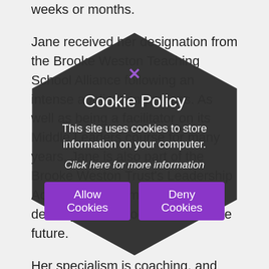weeks or months.

Jane received her designation from the Brooke Weston Teaching School Alliance following an intense application process. As well as being a facilitator on its Middle Leaders course for many years, Jane is also part of the Brooke Weston Trust's Leadership Academy programme, which develops the school leaders of the future.

Her specialism is coaching, and she became Principal at Gretton about two years ago. Before that she was Deputy Head at Corby Business School, and she had also been at Corby Technical School, so she is very familiar with the schools and community locally.

Jane said: 'This is a really exciting opportunity. Although my school is relatively small I have also had experience in a range of settings and in coaching and
[Figure (screenshot): Dark hexagon-shaped cookie policy overlay dialog with close button (purple X), title 'Cookie Policy', body text 'This site uses cookies to store information on your computer.', link text 'Click here for more information', and two purple buttons: 'Allow Cookies' and 'Deny Cookies'.]